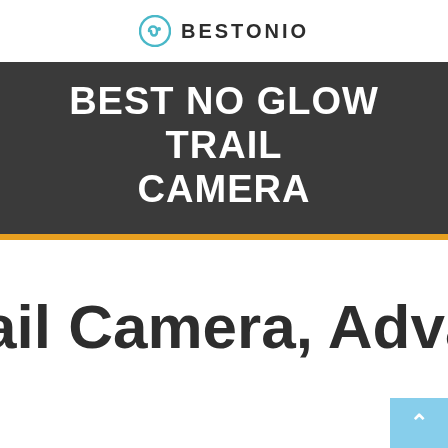BESTONIO
BEST NO GLOW TRAIL CAMERA
ail Camera, Advan